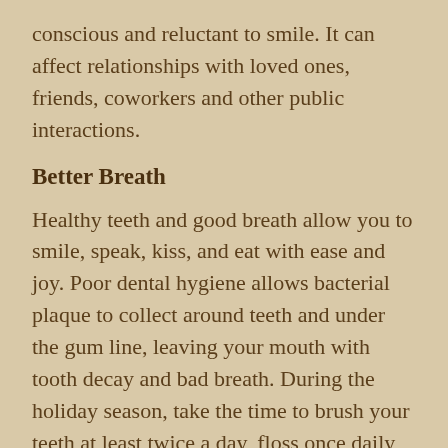conscious and reluctant to smile. It can affect relationships with loved ones, friends, coworkers and other public interactions.
Better Breath
Healthy teeth and good breath allow you to smile, speak, kiss, and eat with ease and joy. Poor dental hygiene allows bacterial plaque to collect around teeth and under the gum line, leaving your mouth with tooth decay and bad breath. During the holiday season, take the time to brush your teeth at least twice a day, floss once daily, and, if needed, follow up with an antibacterial mouthwash to keep your mouth sparkling and clean.